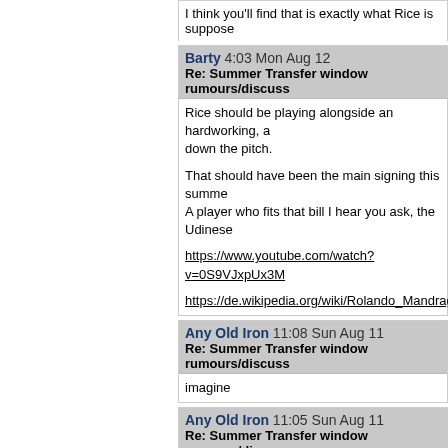I think you'll find that is exactly what Rice is suppose
Barty 4:03 Mon Aug 12
Re: Summer Transfer window rumours/discuss
Rice should be playing alongside an hardworking, a down the pitch.

That should have been the main signing this summe A player who fits that bill I hear you ask, the Udinese

https://www.youtube.com/watch?v=0S9VJxpUx3M

https://de.wikipedia.org/wiki/Rolando_Mandragora
Any Old Iron 11:08 Sun Aug 11
Re: Summer Transfer window rumours/discuss
imagine
Any Old Iron 11:05 Sun Aug 11
Re: Summer Transfer window rumours/discuss
East Stand Pat 3:04 Fri Aug 9

The Boleyn ground was not, and never was a shit he for describing it as such.

You're clearly the worst kind of snowflake football fo fanatical about anything apart the state of the LS bo

Just a tip. You'd be a lot more at home with the sopp